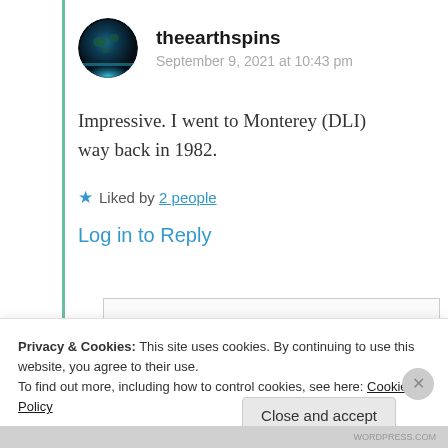[Figure (photo): Circular avatar showing Earth from space with dark background and teal horizon glow]
theearthspins
September 9, 2021 at 10:43 pm
Impressive. I went to Monterey (DLI) way back in 1982.
★ Liked by 2 people
Log in to Reply
Privacy & Cookies: This site uses cookies. By continuing to use this website, you agree to their use.
To find out more, including how to control cookies, see here: Cookie Policy
Close and accept